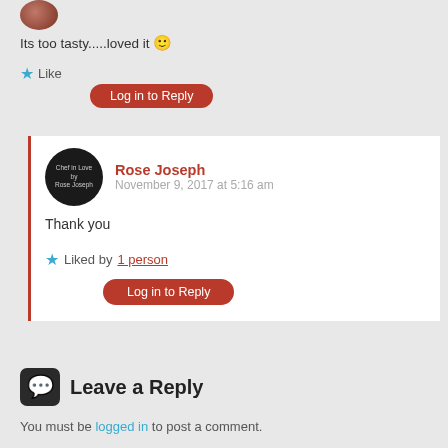[Figure (photo): Cropped avatar image at top left]
Its too tasty.....loved it 🙂
★ Like
Log in to Reply
Rose Joseph
November 9, 2017 at 5:16 am
Thank you
★ Liked by 1 person
Log in to Reply
Leave a Reply
You must be logged in to post a comment.